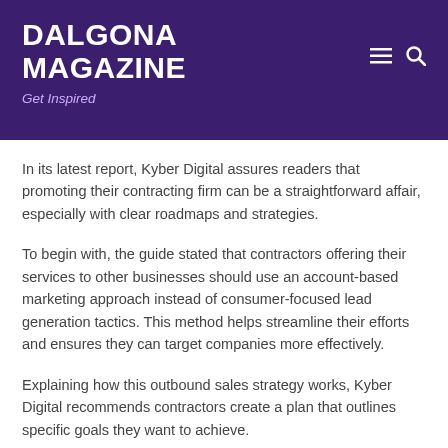DALGONA MAGAZINE
Get Inspired
In its latest report, Kyber Digital assures readers that promoting their contracting firm can be a straightforward affair, especially with clear roadmaps and strategies.
To begin with, the guide stated that contractors offering their services to other businesses should use an account-based marketing approach instead of consumer-focused lead generation tactics. This method helps streamline their efforts and ensures they can target companies more effectively.
Explaining how this outbound sales strategy works, Kyber Digital recommends contractors create a plan that outlines specific goals they want to achieve.